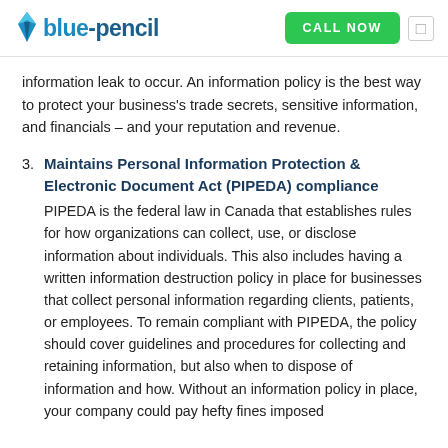[Figure (logo): blue-pencil logo with pencil icon and 'CALL NOW' green button and menu icon]
information leak to occur. An information policy is the best way to protect your business's trade secrets, sensitive information, and financials – and your reputation and revenue.
3. Maintains Personal Information Protection & Electronic Document Act (PIPEDA) compliance
PIPEDA is the federal law in Canada that establishes rules for how organizations can collect, use, or disclose information about individuals. This also includes having a written information destruction policy in place for businesses that collect personal information regarding clients, patients, or employees. To remain compliant with PIPEDA, the policy should cover guidelines and procedures for collecting and retaining information, but also when to dispose of information and how. Without an information policy in place, your company could pay hefty fines imposed by PIPEDA.